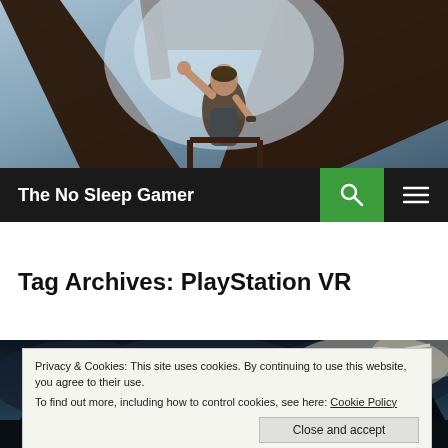[Figure (photo): Game screenshot showing a female character (Lara Croft style) looking up through a wooden structure with icy background]
The No Sleep Gamer
Tag Archives: PlayStation VR
[Figure (photo): Dark fantasy game artwork showing flying creatures (pterodactyls) over a dark stormy landscape]
Privacy & Cookies: This site uses cookies. By continuing to use this website, you agree to their use.
To find out more, including how to control cookies, see here: Cookie Policy
Close and accept